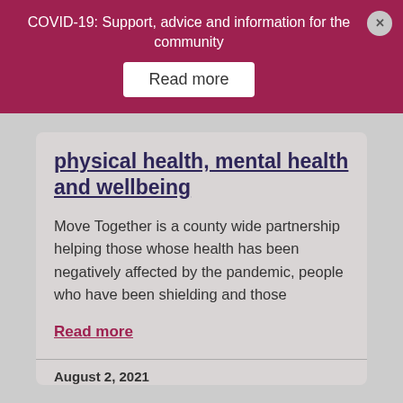COVID-19: Support, advice and information for the community
Read more
physical health, mental health and wellbeing
Move Together is a county wide partnership helping those whose health has been negatively affected by the pandemic, people who have been shielding and those
Read more
August 2, 2021